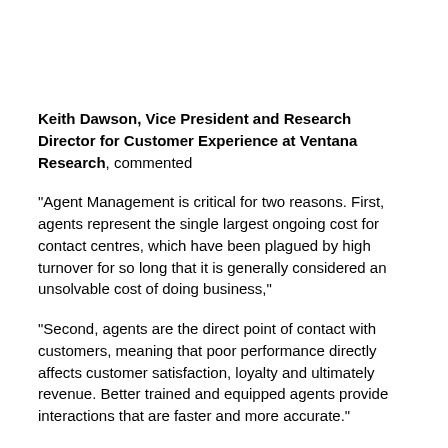Keith Dawson, Vice President and Research Director for Customer Experience at Ventana Research, commented
"Agent Management is critical for two reasons. First, agents represent the single largest ongoing cost for contact centres, which have been plagued by high turnover for so long that it is generally considered an unsolvable cost of doing business,"
"Second, agents are the direct point of contact with customers, meaning that poor performance directly affects customer satisfaction, loyalty and ultimately revenue. Better trained and equipped agents provide interactions that are faster and more accurate."